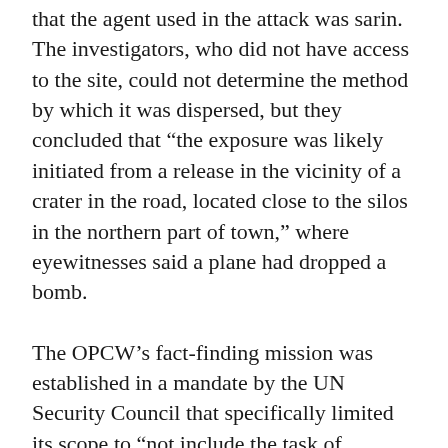that the agent used in the attack was sarin. The investigators, who did not have access to the site, could not determine the method by which it was dispersed, but they concluded that “the exposure was likely initiated from a release in the vicinity of a crater in the road, located close to the silos in the northern part of town,” where eyewitnesses said a plane had dropped a bomb.
The OPCW’s fact-finding mission was established in a mandate by the UN Security Council that specifically limited its scope to “not include the task of attributing responsibility for the alleged use [of chemical weapons].” But nevertheless the report implicitly blamed the regime of Syrian President Bashar al-Assad, which is the only participant in the Syrian conflict capable of carrying out a nerve gas